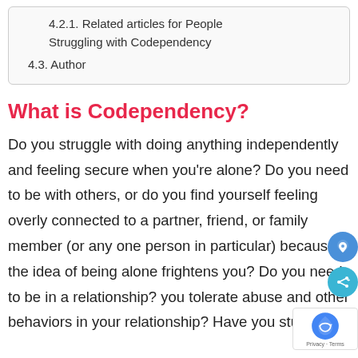4.2.1. Related articles for People Struggling with Codependency
4.3. Author
What is Codependency?
Do you struggle with doing anything independently and feeling secure when you're alone? Do you need to be with others, or do you find yourself feeling overly connected to a partner, friend, or family member (or any one person in particular) because the idea of being alone frightens you? Do you need to be in a relationship? you tolerate abuse and other behaviors in your relationship? Have you stuck it out